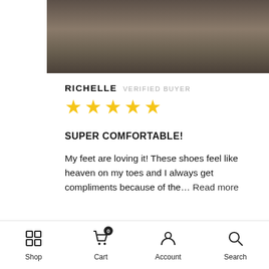[Figure (photo): Close-up photo of feet wearing colorful patterned shoes/sandals on a dark floor surface]
RICHELLE VERIFIED BUYER
[Figure (other): Five yellow star rating]
SUPER COMFORTABLE!
My feet are loving it! These shoes feel like heaven on my toes and I always get compliments because of the... Read more
Was This Review Helpful?
[Figure (photo): Partial photo of feet/shoes, bottom of page]
Shop  Cart 0  Account  Search